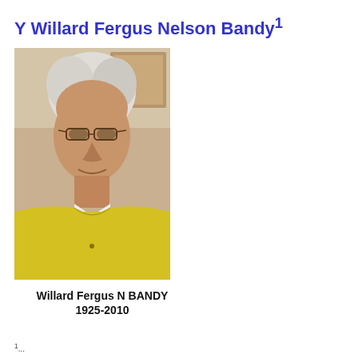Y Willard Fergus Nelson Bandy¹
[Figure (photo): Portrait photograph of an elderly man with white hair wearing glasses and a yellow polo shirt, smiling at the camera]
Willard Fergus N BANDY
1925-2010
1. ...